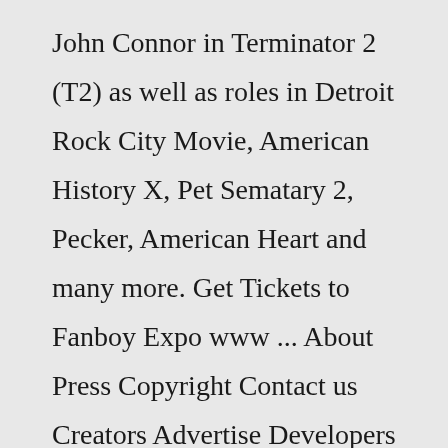John Connor in Terminator 2 (T2) as well as roles in Detroit Rock City Movie, American History X, Pet Sematary 2, Pecker, American Heart and many more. Get Tickets to Fanboy Expo www ... About Press Copyright Contact us Creators Advertise Developers Terms Privacy Policy & Safety How YouTube works Test new features Press Copyright Contact us Creators ...Fanboy Expo Las Vegas